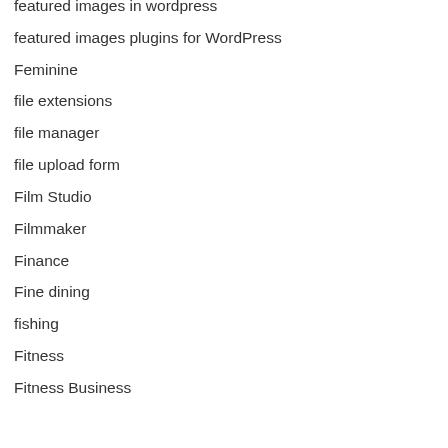featured images in wordpress
featured images plugins for WordPress
Feminine
file extensions
file manager
file upload form
Film Studio
Filmmaker
Finance
Fine dining
fishing
Fitness
Fitness Business